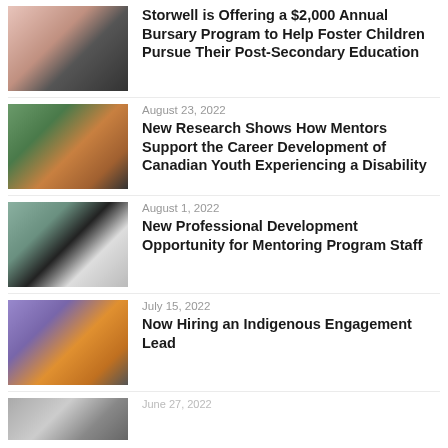[Figure (photo): Child in pink dress with adults, foster care context]
Storwell is Offering a $2,000 Annual Bursary Program to Help Foster Children Pursue Their Post-Secondary Education
[Figure (photo): Two youth and a mentor sitting outdoors]
August 23, 2022
New Research Shows How Mentors Support the Career Development of Canadian Youth Experiencing a Disability
[Figure (photo): Professional development session with people working on laptops]
August 1, 2022
New Professional Development Opportunity for Mentoring Program Staff
[Figure (photo): Indigenous engagement context, hands working with crafts]
July 15, 2022
Now Hiring an Indigenous Engagement Lead
[Figure (photo): Partial photo, partially visible at bottom of page]